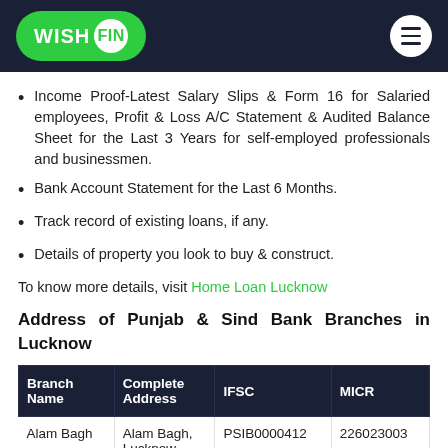WISH FIN
Income Proof-Latest Salary Slips & Form 16 for Salaried employees, Profit & Loss A/C Statement & Audited Balance Sheet for the Last 3 Years for self-employed professionals and businessmen.
Bank Account Statement for the Last 6 Months.
Track record of existing loans, if any.
Details of property you look to buy & construct.
To know more details, visit Home Loan Lucknow
Address of Punjab & Sind Bank Branches in Lucknow
| Branch Name | Complete Address | IFSC | MICR |
| --- | --- | --- | --- |
| Alam Bagh | Alam Bagh, Lucknow | PSIB0000412 | 226023003 |